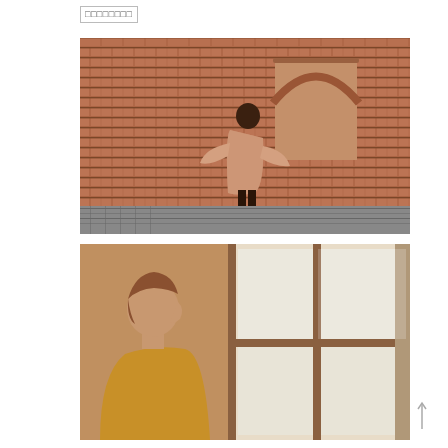□□□□□□□□
[Figure (photo): Person wearing a long floral kimono/coat standing in front of a red brick wall with an arched window niche, on a cobblestone street]
[Figure (photo): Woman with short hair in profile view looking toward large multi-pane windows in a warm interior room, wearing a mustard/yellow top]